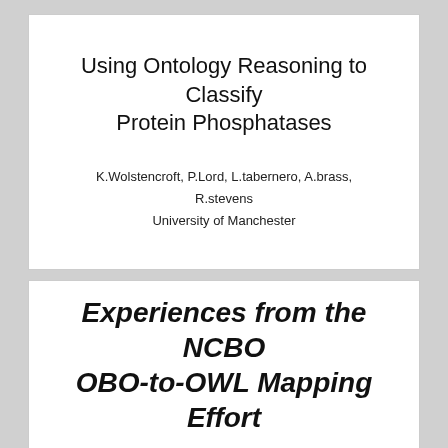Using Ontology Reasoning to Classify Protein Phosphatases
K.Wolstencroft, P.Lord, L.tabernero, A.brass, R.stevens
University of Manchester
Experiences from the NCBO OBO-to-OWL Mapping Effort
Dilvan A. Moreira, University of São Paulo
Mark A. Musen, Stanford University